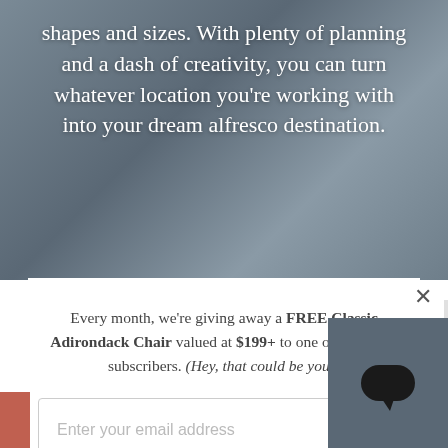[Figure (photo): Blurred outdoor/patio background image with text overlay reading: 'shapes and sizes. With plenty of planning and a dash of creativity, you can turn whatever location you're working with into your dream alfresco destination.']
Every month, we're giving away a FREE Classic Adirondack Chair valued at $199+ to one of our email subscribers. (Hey, that could be you!)
Enter your email address
SIGN ME UP!
One (1) winner will be selected at random at the end of each month and contacted by email. U.S. entrants only.